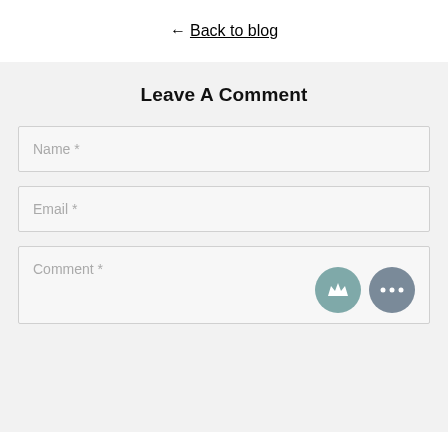← Back to blog
Leave A Comment
Name *
Email *
Comment *